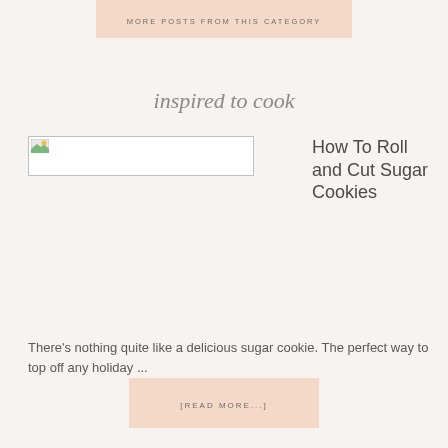MORE POSTS FROM THIS CATEGORY
inspired to cook
[Figure (photo): Broken/placeholder image thumbnail for a blog post]
How To Roll and Cut Sugar Cookies
There's nothing quite like a delicious sugar cookie. The perfect way to top off any holiday ...
[READ MORE...]